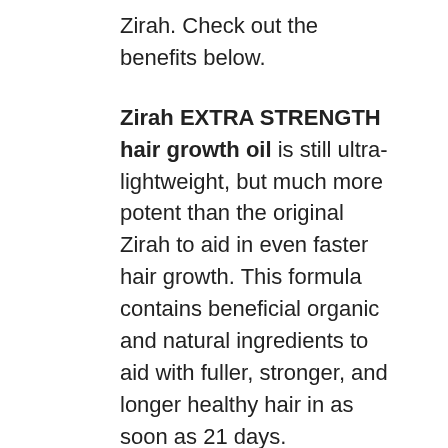Zirah. Check out the benefits below.
Zirah EXTRA STRENGTH hair growth oil is still ultra-lightweight, but much more potent than the original Zirah to aid in even faster hair growth. This formula contains beneficial organic and natural ingredients to aid with fuller, stronger, and longer healthy hair in as soon as 21 days.
Zirah Extra Strength hair growth oil works by conditioning and penetrating the scalp to increase hair growth with enhanced technology that